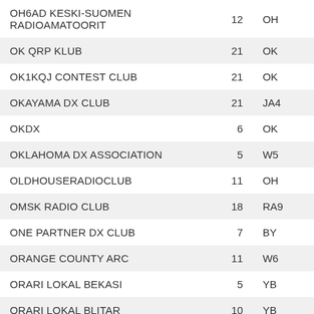| Club Name | Count | Code |
| --- | --- | --- |
| OH6AD KESKI-SUOMEN RADIOAMATOORIT | 12 | OH |
| OK QRP KLUB | 21 | OK |
| OK1KQJ CONTEST CLUB | 21 | OK |
| OKAYAMA DX CLUB | 21 | JA4 |
| OKDX | 6 | OK |
| OKLAHOMA DX ASSOCIATION | 5 | W5 |
| OLDHOUSERADIOCLUB | 11 | OH |
| OMSK RADIO CLUB | 18 | RA9 |
| ONE PARTNER DX CLUB | 7 | BY |
| ORANGE COUNTY ARC | 11 | W6 |
| ORARI LOKAL BEKASI | 5 | YB |
| ORARI LOKAL BLITAR | 10 | YB |
| ORARI LOKAL BOGOR | 49 | YB |
| ORARI LOKAL KAB BOGOR | 12 | YB |